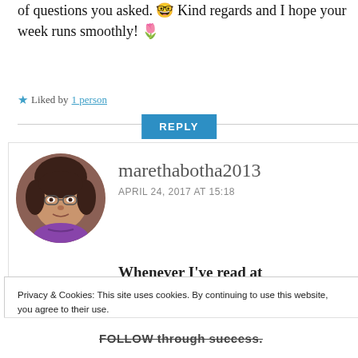of questions you asked. 🤓 Kind regards and I hope your week runs smoothly! 🌷
★ Liked by 1 person
REPLY
[Figure (photo): Circular avatar photo of marethabotha2013, a woman with glasses and brown hair]
marethabotha2013
APRIL 24, 2017 AT 15:18
Whenever I've read at
Privacy & Cookies: This site uses cookies. By continuing to use this website, you agree to their use.
To find out more, including how to control cookies, see here: Cookie Policy
Close and accept
FOLLOW through success.